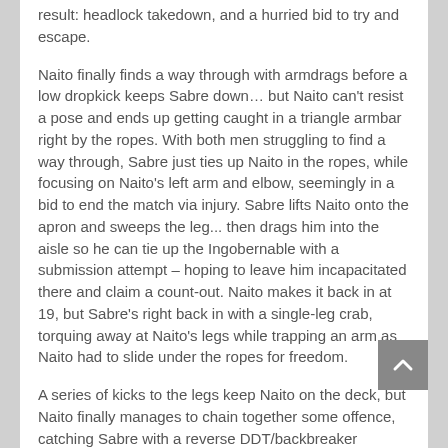result: headlock takedown, and a hurried bid to try and escape.
Naito finally finds a way through with armdrags before a low dropkick keeps Sabre down… but Naito can't resist a pose and ends up getting caught in a triangle armbar right by the ropes. With both men struggling to find a way through, Sabre just ties up Naito in the ropes, while focusing on Naito's left arm and elbow, seemingly in a bid to end the match via injury. Sabre lifts Naito onto the apron and sweeps the leg... then drags him into the aisle so he can tie up the Ingobernable with a submission attempt – hoping to leave him incapacitated there and claim a count-out. Naito makes it back in at 19, but Sabre's right back in with a single-leg crab, torquing away at Naito's legs while trapping an arm as Naito had to slide under the ropes for freedom.
A series of kicks to the legs keep Naito on the deck, but Naito finally manages to chain together some offence, catching Sabre with a reverse DDT/backbreaker combo.